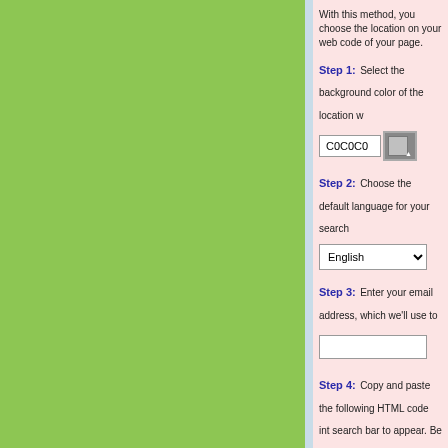With this method, you choose the location on your web code of your page.
Step 1: Select the background color of the location w
C0C0C0 [color picker]
Step 2: Choose the default language for your search
English [dropdown]
Step 3: Enter your email address, which we'll use to
[email input field]
Step 4: Copy and paste the following HTML code int search bar to appear. Be careful not to change the cod affiliate program.
<!-- START OF AFFILIATE PROGRAM CODE -->
<div align="center" style="width:168px; height:270px; margi
<iframe frameborder="0" scrolling="no" src="https://www.ins =%23C0C0C0&amp;l=en" style="height:250px; width:166p
<a href="https://www.instantworldbooking.com" target="_bla eserve a hotel now - Instant World Booking" style="font-fam e; vertical-align:top;">Instant World Booking</a> &nbsp; <